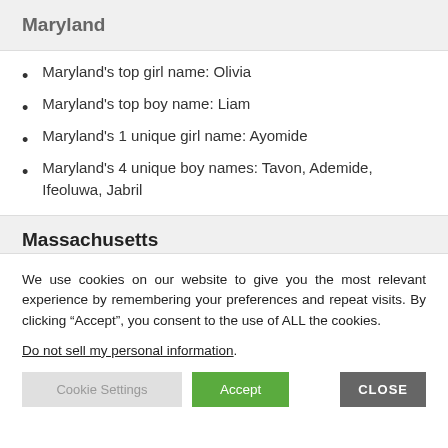Maryland
Maryland's top girl name: Olivia
Maryland's top boy name: Liam
Maryland's 1 unique girl name: Ayomide
Maryland's 4 unique boy names: Tavon, Ademide, Ifeoluwa, Jabril
Massachusetts
We use cookies on our website to give you the most relevant experience by remembering your preferences and repeat visits. By clicking “Accept”, you consent to the use of ALL the cookies.
Do not sell my personal information.